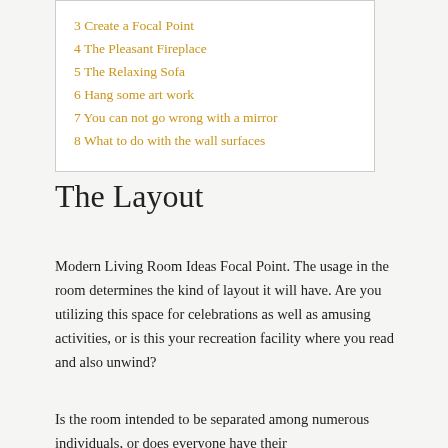3 Create a Focal Point
4 The Pleasant Fireplace
5 The Relaxing Sofa
6 Hang some art work
7 You can not go wrong with a mirror
8 What to do with the wall surfaces
The Layout
Modern Living Room Ideas Focal Point. The usage in the room determines the kind of layout it will have. Are you utilizing this space for celebrations as well as amusing activities, or is this your recreation facility where you read and also unwind?
Is the room intended to be separated among numerous individuals, or does everyone have their